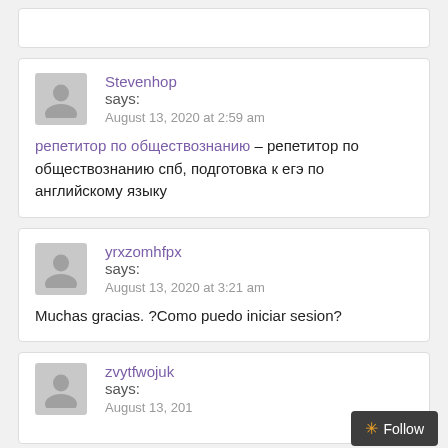Stevenhop says:
August 13, 2020 at 2:59 am
репетитор по обществознанию – репетитор по обществознанию спб, подготовка к егэ по английскому языку
yrxzomhfpx says:
August 13, 2020 at 3:21 am
Muchas gracias. ?Como puedo iniciar sesion?
zvytfwojuk says:
August 13, 201